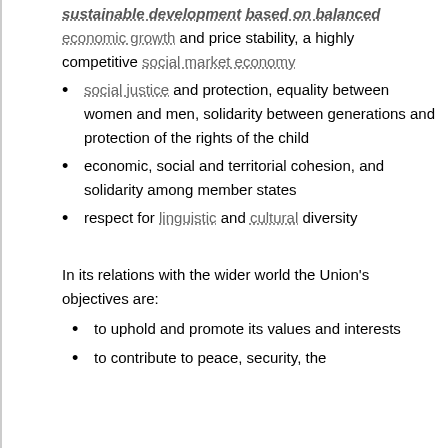sustainable development based on balanced economic growth and price stability, a highly competitive social market economy
social justice and protection, equality between women and men, solidarity between generations and protection of the rights of the child
economic, social and territorial cohesion, and solidarity among member states
respect for linguistic and cultural diversity
In its relations with the wider world the Union's objectives are:
to uphold and promote its values and interests
to contribute to peace, security, the